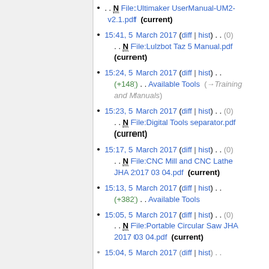. . N File:Ultimaker UserManual-UM2-v2.1.pdf (current)
15:41, 5 March 2017 (diff | hist) . . (0) . . N File:Lulzbot Taz 5 Manual.pdf (current)
15:24, 5 March 2017 (diff | hist) . . (+148) . . Available Tools (→Training and Manuals)
15:23, 5 March 2017 (diff | hist) . . (0) . . N File:Digital Tools separator.pdf (current)
15:17, 5 March 2017 (diff | hist) . . (0) . . N File:CNC Mill and CNC Lathe JHA 2017 03 04.pdf (current)
15:13, 5 March 2017 (diff | hist) . . (+382) . . Available Tools
15:05, 5 March 2017 (diff | hist) . . (0) . . N File:Portable Circular Saw JHA 2017 03 04.pdf (current)
15:04, 5 March 2017 (diff | hist) ...